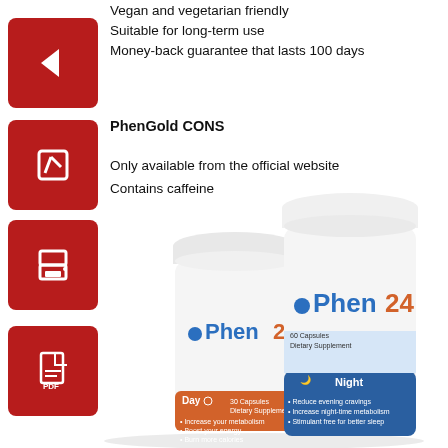Vegan and vegetarian friendly
Suitable for long-term use
Money-back guarantee that lasts 100 days
PhenGold CONS
Only available from the official website
Contains caffeine
[Figure (photo): Two Phen24 supplement bottles — Day (orange label) and Night (blue label) — white bottles with caps, showing product branding and bullet points on labels.]